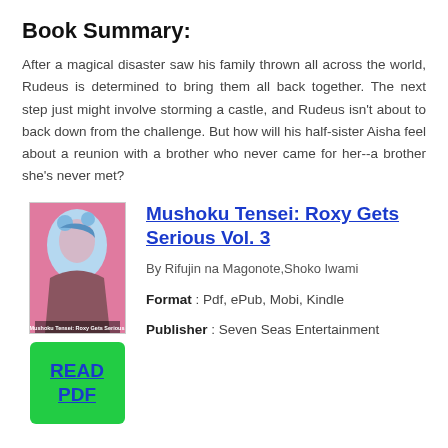Book Summary:
After a magical disaster saw his family thrown all across the world, Rudeus is determined to bring them all back together. The next step just might involve storming a castle, and Rudeus isn't about to back down from the challenge. But how will his half-sister Aisha feel about a reunion with a brother who never came for her--a brother she's never met?
[Figure (illustration): Book cover of Mushoku Tensei: Roxy Gets Serious Vol. 3, pink background with manga-style character illustration]
[Figure (other): Green READ PDF button with blue underlined text]
Mushoku Tensei: Roxy Gets Serious Vol. 3
By Rifujin na Magonote,Shoko Iwami
Format : Pdf, ePub, Mobi, Kindle
Publisher : Seven Seas Entertainment